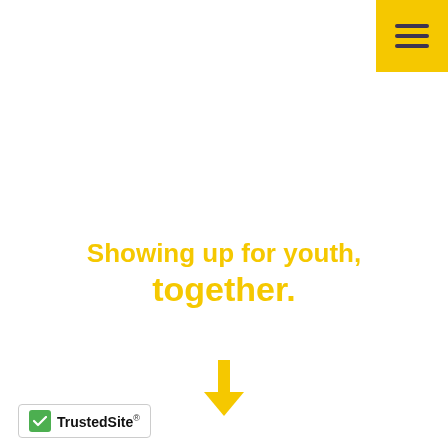[Figure (other): Yellow hamburger menu button in top-right corner]
Showing up for youth, together.
[Figure (other): Yellow downward arrow icon]
[Figure (logo): TrustedSite badge with green checkmark]